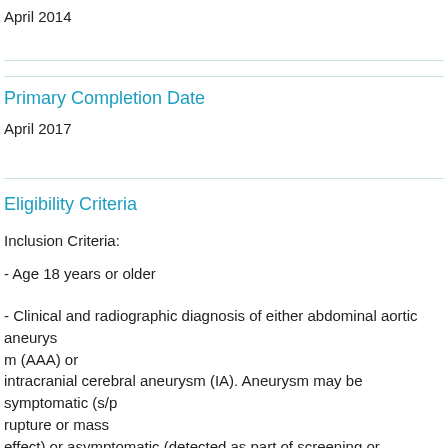April 2014
Primary Completion Date
April 2017
Eligibility Criteria
Inclusion Criteria:
- Age 18 years or older
- Clinical and radiographic diagnosis of either abdominal aortic aneurysm (AAA) or intracranial cerebral aneurysm (IA). Aneurysm may be symptomatic (s/p rupture or mass effect) or asymptomatic (detected as part of screening or incidentally discovered.